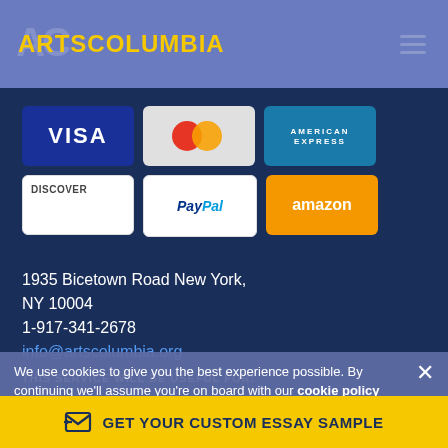ARTSCOLUMBIA
[Figure (logo): ArtsColumbia logo with yellow text on blue/purple header bar]
[Figure (infographic): Payment method icons: VISA, Mastercard, American Express, Discover, PayPal, Amazon]
1935 Bicetown Road New York,
NY 10004
1-917-341-2678
info@artscolumbia.org
THIS SERVICE WILL BE USEFUL FOR:
We use cookies to give you the best experience possible. By continuing we'll assume you're on board with our cookie policy
GET YOUR CUSTOM ESSAY SAMPLE